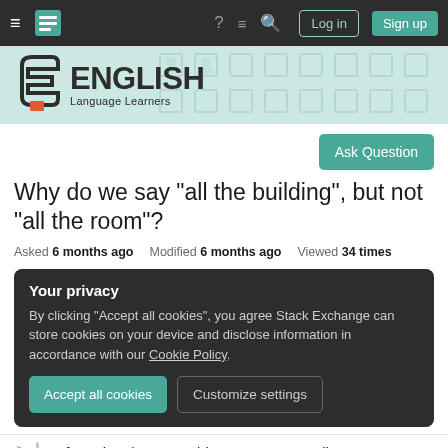≡ [logo] ? ≡ Q  Log in  Sign up
[Figure (logo): English Language Learners Stack Exchange logo with teal banner background and subtle pattern]
Ask Question
Why do we say "all the building", but not "all the room"?
Asked 6 months ago   Modified 6 months ago   Viewed 34 times
Your privacy
By clicking "Accept all cookies", you agree Stack Exchange can store cookies on your device and disclose information in accordance with our Cookie Policy.
Accept all cookies   Customize settings
Before singular countable nouns we usually